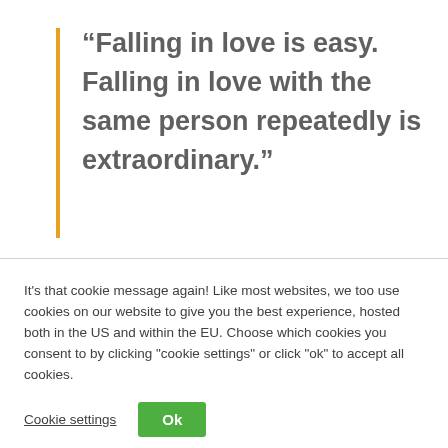“Falling in love is easy. Falling in love with the same person repeatedly is extraordinary.”
It’s that cookie message again! Like most websites, we too use cookies on our website to give you the best experience, hosted both in the US and within the EU. Choose which cookies you consent to by clicking "cookie settings" or click "ok" to accept all cookies.
Cookie settings
Ok